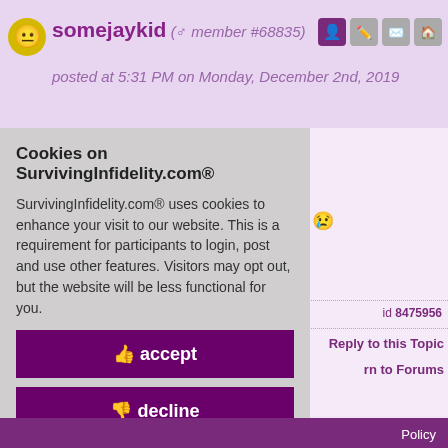somejaykid (♂ member #68835) posted at 5:31 PM on Monday, December 2nd, 2019
ol 😢
id 8475956
Reply to this Topic
rn to Forums
Cookies on SurvivingInfidelity.com®
SurvivingInfidelity.com® uses cookies to enhance your visit to our website. This is a requirement for participants to login, post and use other features. Visitors may opt out, but the website will be less functional for you.
👍 accept
👎 decline
🍪 about cookies
Policy